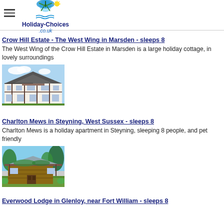Holiday-Choices.co.uk
Crow Hill Estate - The West Wing in Marsden - sleeps 8
The West Wing of the Crow Hill Estate in Marsden is a large holiday cottage, in lovely surroundings
[Figure (photo): Photo of Crow Hill Estate - a large Tudor-style holiday cottage building]
Charlton Mews in Steyning, West Sussex - sleeps 8
Charlton Mews is a holiday apartment in Steyning, sleeping 8 people, and pet friendly
[Figure (photo): Photo of Charlton Mews - a wooden lodge style holiday accommodation surrounded by trees and greenery]
Everwood Lodge in Glenloy, near Fort William - sleeps 8